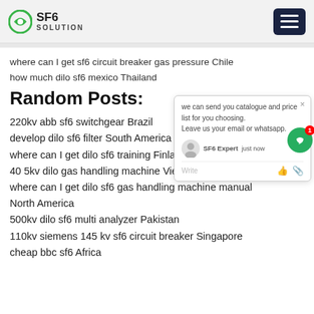SF6 SOLUTION
where can I get sf6 circuit breaker gas pressure Chile
how much dilo sf6 mexico Thailand
Random Posts:
220kv abb sf6 switchgear Brazil
develop dilo sf6 filter South America
where can I get dilo sf6 training Finland
40 5kv dilo gas handling machine Vietnam
where can I get dilo sf6 gas handling machine manual North America
500kv dilo sf6 multi analyzer Pakistan
110kv siemens 145 kv sf6 circuit breaker Singapore
cheap bbc sf6 Africa